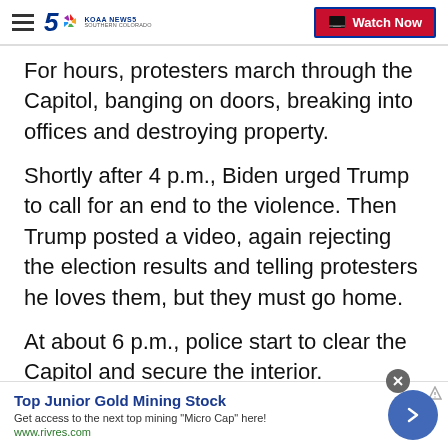KOAA News5 Southern Colorado — Watch Now
For hours, protesters march through the Capitol, banging on doors, breaking into offices and destroying property.
Shortly after 4 p.m., Biden urged Trump to call for an end to the violence. Then Trump posted a video, again rejecting the election results and telling protesters he loves them, but they must go home.
At about 6 p.m., police start to clear the Capitol and secure the interior.
[Figure (screenshot): Advertisement banner: Top Junior Gold Mining Stock — Get access to the next top mining 'Micro Cap' here! www.rivres.com]